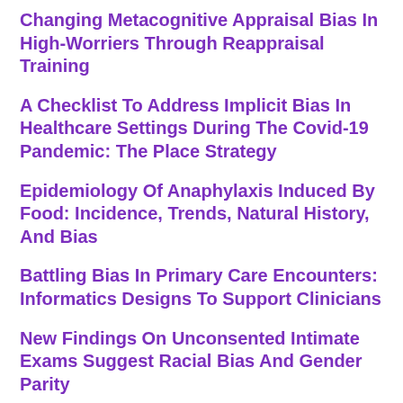Changing Metacognitive Appraisal Bias In High-Worriers Through Reappraisal Training
A Checklist To Address Implicit Bias In Healthcare Settings During The Covid-19 Pandemic: The Place Strategy
Epidemiology Of Anaphylaxis Induced By Food: Incidence, Trends, Natural History, And Bias
Battling Bias In Primary Care Encounters: Informatics Designs To Support Clinicians
New Findings On Unconsented Intimate Exams Suggest Racial Bias And Gender Parity
One Bias Particular To Asylum Courts: The Native-Speaker Bias